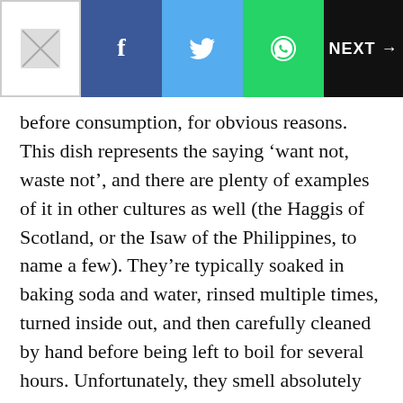NEXT →
before consumption, for obvious reasons. This dish represents the saying 'want not, waste not', and there are plenty of examples of it in other cultures as well (the Haggis of Scotland, or the Isaw of the Philippines, to name a few). They're typically soaked in baking soda and water, rinsed multiple times, turned inside out, and then carefully cleaned by hand before being left to boil for several hours. Unfortunately, they smell absolutely horrible when they're boiling, so some people put onion and lemon in the water to make the stench more bearable. After they're boiled, you batter and deep fry them, then serve it with hot sauce. Boom, you've got your very own classic Southern dish!